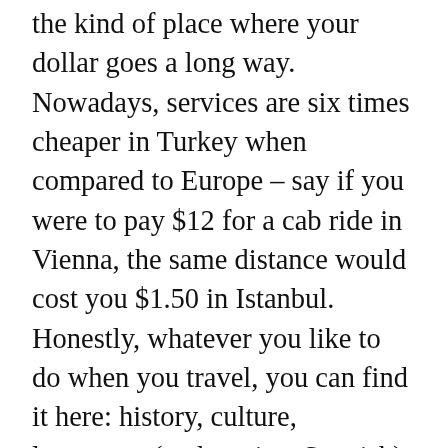the kind of place where your dollar goes a long way. Nowadays, services are six times cheaper in Turkey when compared to Europe – say if you were to pay $12 for a cab ride in Vienna, the same distance would cost you $1.50 in Istanbul. Honestly, whatever you like to do when you travel, you can find it here: history, culture, languages (and not just Spanish), and even just the bar crowd. Last year Dan and I traveled for 4 weeks in Indonesia. Happy travels! Did you know that the World's oldest wine was found in 8,000-year-old jars in Georgia? India has a good rail network, so we traveled by train. I didn't notice much fluctuation in costs between those two visits—an encouraging sign that Vietnam will remain a